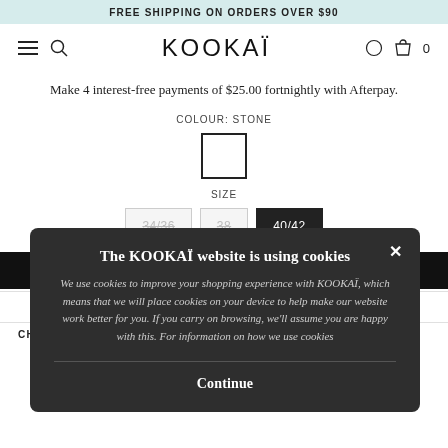FREE SHIPPING ON ORDERS OVER $90
KOOKAÏ
Make 4 interest-free payments of $25.00 fortnightly with Afterpay.
COLOUR: STONE
SIZE
34/36  38  40/42
FREE SHIPPING OVER $150  30 DAY RETURNS
CHECK SHIPPING
The KOOKAÏ website is using cookies
We use cookies to improve your shopping experience with KOOKAÏ, which means that we will place cookies on your device to help make our website work better for you. If you carry on browsing, we'll assume you are happy with this. For information on how we use cookies
Continue